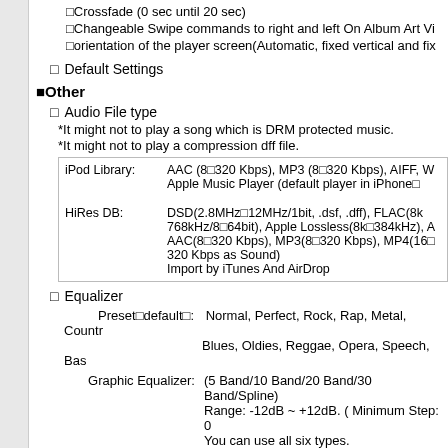□Crossfade (0 sec until 20 sec)
□Changeable Swipe commands to right and left On Album Art Vi
□orientation of the player screen(Automatic, fixed vertical and fix
□ Default Settings
■Other
□ Audio File type
*It might not to play a song which is DRM protected music.
*It might not to play a compression dff file.
| iPod Library: | AAC (8□320 Kbps), MP3 (8□320 Kbps), AIFF, W Apple Music Player (default player in iPhone□ |
| HiRes DB: | DSD(2.8MHz□12MHz/1bit, .dsf, .dff), FLAC(8k 768kHz/8□64bit), Apple Lossless(8k□384kHz), A AAC(8□320 Kbps), MP3(8□320 Kbps), MP4(16□ 320 Kbps as Sound)
Import by iTunes And AirDrop |
□ Equalizer
Preset□default□: Normal, Perfect, Rock, Rap, Metal, Countr Blues, Oldies, Reggae, Opera, Speech, Bas
Graphic Equalizer: (5 Band/10 Band/20 Band/30 Band/Spline) Range: -12dB ~ +12dB. ( Minimum Step: 0 You can use all six types. It is also you can create any preset-data by
Beginner (5 Bands)
Frequency band:
100/315/1.25K/3